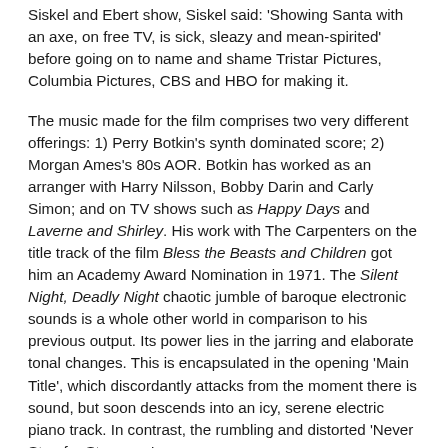Siskel and Ebert show, Siskel said: 'Showing Santa with an axe, on free TV, is sick, sleazy and mean-spirited' before going on to name and shame Tristar Pictures, Columbia Pictures, CBS and HBO for making it.
The music made for the film comprises two very different offerings: 1) Perry Botkin's synth dominated score; 2) Morgan Ames's 80s AOR. Botkin has worked as an arranger with Harry Nilsson, Bobby Darin and Carly Simon; and on TV shows such as Happy Days and Laverne and Shirley. His work with The Carpenters on the title track of the film Bless the Beasts and Children got him an Academy Award Nomination in 1971. The Silent Night, Deadly Night chaotic jumble of baroque electronic sounds is a whole other world in comparison to his previous output. Its power lies in the jarring and elaborate tonal changes. This is encapsulated in the opening 'Main Title', which discordantly attacks from the moment there is sound, but soon descends into an icy, serene electric piano track. In contrast, the rumbling and distorted 'Never Stop for Strangers'